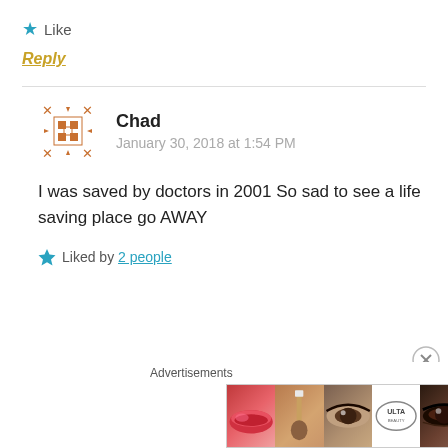★ Like
Reply
Chad
January 30, 2018 at 1:54 PM
I was saved by doctors in 2001 So sad to see a life saving place go AWAY
★ Liked by 2 people
Advertisements